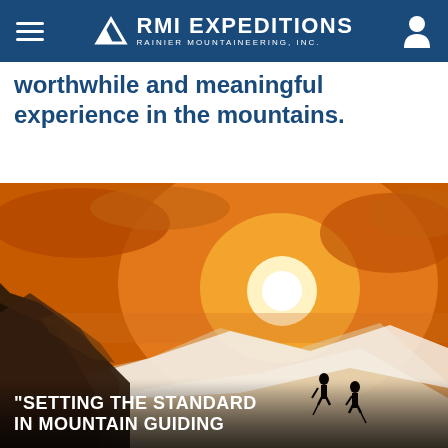RMI EXPEDITIONS — RAINIER MOUNTAINEERING, INC.
worthwhile and meaningful experience in the mountains.
[Figure (photo): Two mountaineers silhouetted against a glowing golden sunrise on a snowy mountain ridge, with rocky outcrops on the left and dramatic cloudy sky behind. Overlay text reads '"SETTING THE STANDARD IN MOUNTAIN GUIDING']
"SETTING THE STANDARD IN MOUNTAIN GUIDING